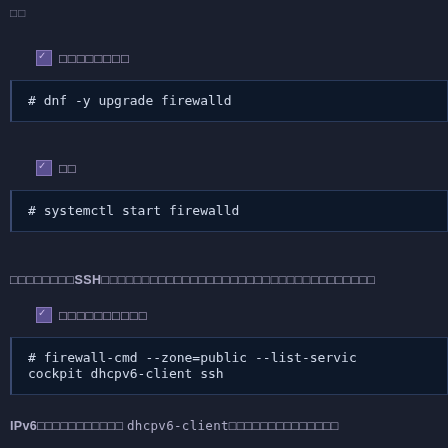□□
☑ □□□□□□□□
# dnf -y upgrade firewalld
☑ □□
# systemctl start firewalld
□□□□□□□□SSH□□□□□□□□□□□□□□□□□□□□□□□□□□□□□□□□□□
☑ □□□□□□□□□□
# firewall-cmd --zone=public --list-servic
cockpit dhcpv6-client ssh
IPv6□□□□□□□□□□□ dhcpv6-client□□□□□□□□□□□□□□